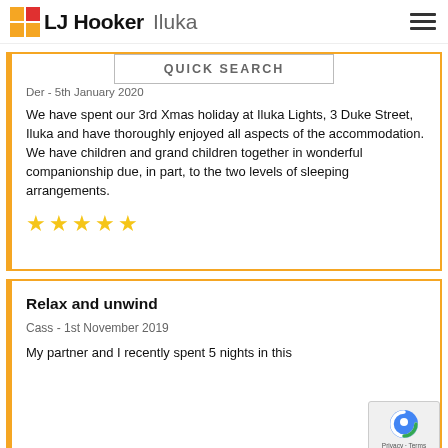LJ Hooker Iluka
QUICK SEARCH
Der - 5th January 2020
We have spent our 3rd Xmas holiday at Iluka Lights, 3 Duke Street, Iluka and have thoroughly enjoyed all aspects of the accommodation. We have children and grand children together in wonderful companionship due, in part, to the two levels of sleeping arrangements.
★★★★★
Relax and unwind
Cass - 1st November 2019
My partner and I recently spent 5 nights in this